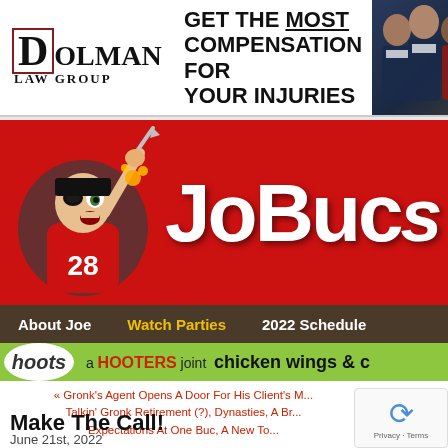[Figure (illustration): Dolman Law Group advertisement banner with logo on left, bold text 'GET THE MOST COMPENSATION FOR YOUR INJURIES' in center, and photo of lawyers on right]
[Figure (logo): JoeBucs website header with red background, cartoon pirate mascot wearing #28 jersey, and 'JoeBucs' logo text in white]
About Joe   Watch Parties   2022 Schedule
[Figure (illustration): Hoots - a Hooters joint - chicken wings & advertisement bar in green]
« Gronk's Agent Opens A Door For His Client's M... Talkin' Gronk Retirement (?), Dynasties, A Br... Expectations At One Buc, A New To...
Make The Call!
June 21st, 2022